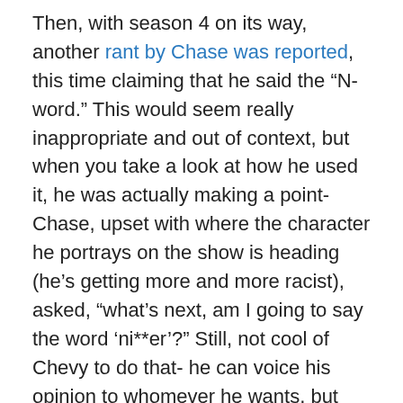Then, with season 4 on its way, another rant by Chase was reported, this time claiming that he said the “N-word.” This would seem really inappropriate and out of context, but when you take a look at how he used it, he was actually making a point- Chase, upset with where the character he portrays on the show is heading (he’s getting more and more racist), asked, “what’s next, am I going to say the word ‘ni**er’?” Still, not cool of Chevy to do that- he can voice his opinion to whomever he wants, but maybe spewing shit like that should be kept behind closed doors, huh? Any how, this rant came a few weeks before Chase announced that he would be leaving the show, mid-way through the taping of season 4 (so he could go do Old Navy commercials apparently…). Season 4, by the way, has already been delayed several times; the latest season was to originally air on October 19th, but was pushed to